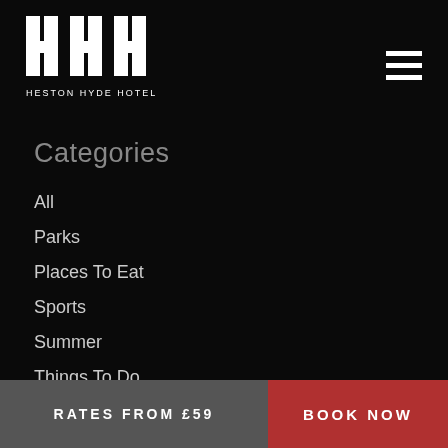[Figure (logo): Heston Hyde Hotel logo — stylized HHH letterform in white on black background with text 'HESTON HYDE HOTEL' beneath]
Categories
All
Parks
Places To Eat
Sports
Summer
Things To Do
Travelling With Kids
RSS Feed
RATES FROM £59   BOOK NOW